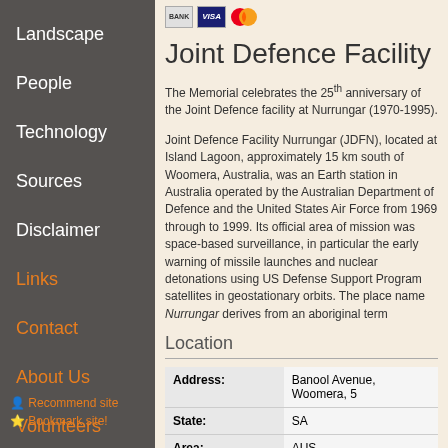Landscape
People
Technology
Sources
Disclaimer
Links
Contact
About Us
Volunteers
Recommend site
Bookmark site!
[Figure (other): Payment icons: BANK, VISA, Mastercard]
Joint Defence Facility
The Memorial celebrates the 25th anniversary of the Joint Defence facility at Nurrungar (1970-1995).
Joint Defence Facility Nurrungar (JDFN), located at Island Lagoon, approximately 15 km south of Woomera, Australia, was an Earth station in Australia operated by the Australian Department of Defence and the United States Air Force from 1969 through to 1999. Its official area of mission was space-based surveillance, in particular the early warning of missile launches and nuclear detonations using US Defense Support Program satellites in geostationary orbits. The place name Nurrungar derives from an aboriginal term
Location
|  |  |
| --- | --- |
| Address: | Banool Avenue, Woomera, 5 |
| State: | SA |
| Area: | AUS |
| GPS Coordinates: | Lat: -31.198313
Long: 136.825546 |